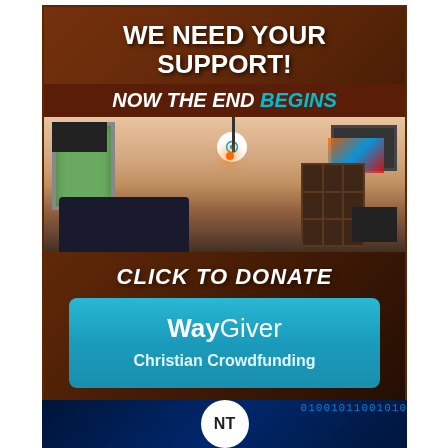[Figure (infographic): Fundraising advertisement for 'Now The End Begins' ministry. Contains headline 'WE NEED YOUR SUPPORT!', logo bar 'NOW THE END BEGINS', photo of a room/studio interior, 'CLICK TO DONATE' call to action, and WayGiver Christian Crowdfunding donation platform logo in blue box.]
[Figure (infographic): Partial bottom banner showing NT logo on blue binary-code background, beginning of another advertisement block.]